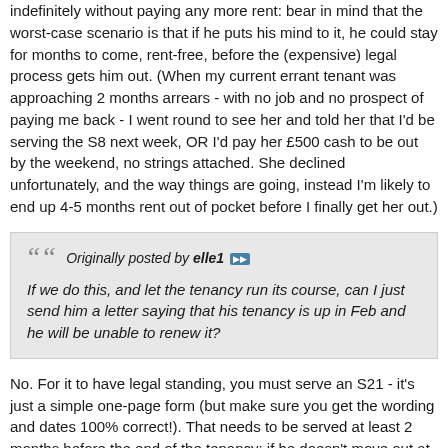indefinitely without paying any more rent: bear in mind that the worst-case scenario is that if he puts his mind to it, he could stay for months to come, rent-free, before the (expensive) legal process gets him out. (When my current errant tenant was approaching 2 months arrears - with no job and no prospect of paying me back - I went round to see her and told her that I'd be serving the S8 next week, OR I'd pay her £500 cash to be out by the weekend, no strings attached. She declined unfortunately, and the way things are going, instead I'm likely to end up 4-5 months rent out of pocket before I finally get her out.)
Originally posted by elle1 — If we do this, and let the tenancy run its course, can I just send him a letter saying that his tenancy is up in Feb and he will be unable to renew it?
No. For it to have legal standing, you must serve an S21 - it's just a simple one-page form (but make sure you get the wording and dates 100% correct!). That needs to be served at least 2 months before the end of the tenancy; if he doesn't move out at the end you can then apply to the courts immediately.
I think in your situation it would have been good to have got the S21 served at the start of the tenancy (and you could have decided